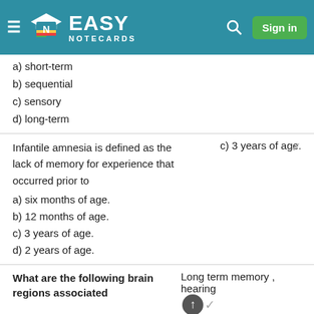EASY NOTECARDS
a) short-term
b) sequential
c) sensory
d) long-term
Infantile amnesia is defined as the lack of memory for experience that occurred prior to
a) six months of age.
b) 12 months of age.
c) 3 years of age.
d) 2 years of age.
c) 3 years of age.
What are the following brain regions associated
Long term memory , hearing